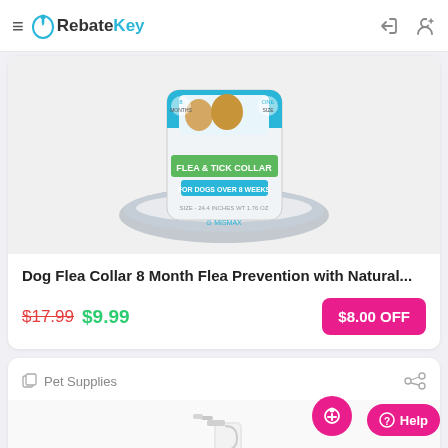RebateKey
[Figure (photo): Flea & Tick Collar for dogs product image showing packaging with golden retriever dogs]
Dog Flea Collar 8 Month Flea Prevention with Natural...
$17.99 $9.99  $8.00 OFF
Pet Supplies
[Figure (photo): Spray bottle product image, partially visible]